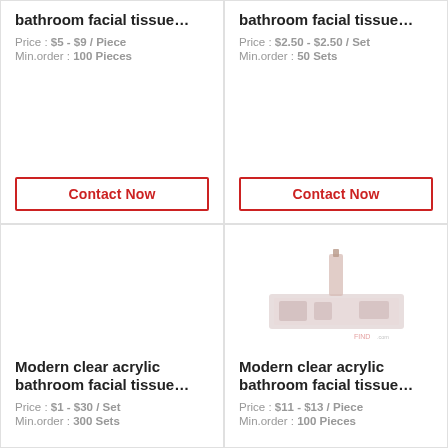bathroom facial tissue...
Price : $5 - $9 / Piece
Min.order : 100 Pieces
Contact Now
bathroom facial tissue...
Price : $2.50 - $2.50 / Set
Min.order : 50 Sets
Contact Now
[Figure (photo): No image shown for left bottom product]
Modern clear acrylic bathroom facial tissue...
Price : $1 - $30 / Set
Min.order : 300 Sets
[Figure (photo): Product image: acrylic bathroom accessory set with bottle]
Modern clear acrylic bathroom facial tissue...
Price : $11 - $13 / Piece
Min.order : 100 Pieces